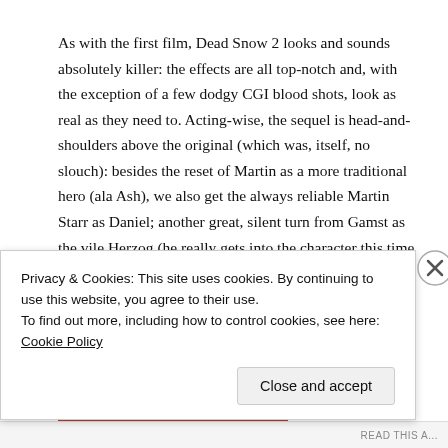As with the first film, Dead Snow 2 looks and sounds absolutely killer: the effects are all top-notch and, with the exception of a few dodgy CGI blood shots, look as real as they need to. Acting-wise, the sequel is head-and-shoulders above the original (which was, itself, no slouch): besides the reset of Martin as a more traditional hero (ala Ash), we also get the always reliable Martin Starr as Daniel; another great, silent turn from Gamst as the vile Herzog (he really gets into the character this time around, giving us a handful of
Privacy & Cookies: This site uses cookies. By continuing to use this website, you agree to their use.
To find out more, including how to control cookies, see here: Cookie Policy
Close and accept